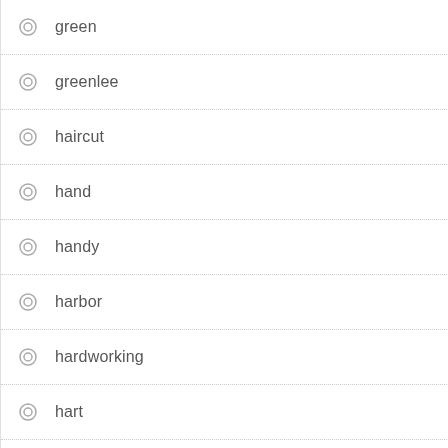green
greenlee
haircut
hand
handy
harbor
hardworking
hart
hb-8
hd3300
heavy